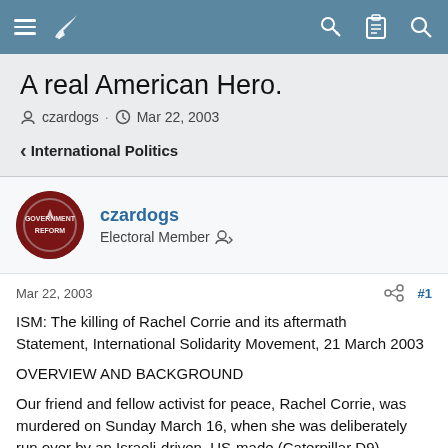Navigation bar with menu, logo, key, clipboard, and search icons
A real American Hero.
czardogs · Mar 22, 2003
International Politics
czardogs
Electoral Member
Mar 22, 2003  #1
ISM: The killing of Rachel Corrie and its aftermath
Statement, International Solidarity Movement, 21 March 2003

OVERVIEW AND BACKGROUND

Our friend and fellow activist for peace, Rachel Corrie, was murdered on Sunday March 16, when she was deliberately run over by an Israeli-driven, US-made (Caterpillar D9) bulldozer, while trying to